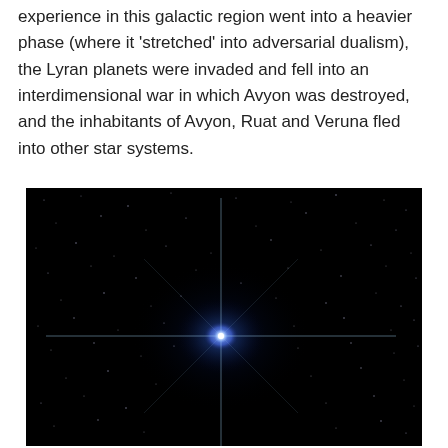experience in this galactic region went into a heavier phase (where it 'stretched' into adversarial dualism), the Lyran planets were invaded and fell into an interdimensional war in which Avyon was destroyed, and the inhabitants of Avyon, Ruat and Veruna fled into other star systems.
[Figure (photo): Astronomical photograph of a bright blue-white star with diffraction spikes against a black starfield background, with numerous faint stars scattered throughout.]